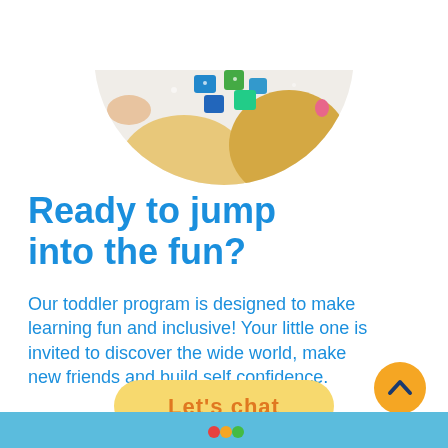[Figure (photo): Circular cropped photo of children playing with colorful blocks on a white table, viewed from above, showing their heads and hands]
Ready to jump into the fun?
Our toddler program is designed to make learning fun and inclusive! Your little one is invited to discover the wide world, make new friends and build self confidence.
[Figure (other): Yellow circular button with upward chevron arrow in dark blue/navy]
[Figure (other): Yellow pill-shaped button with text 'Let's chat' in orange]